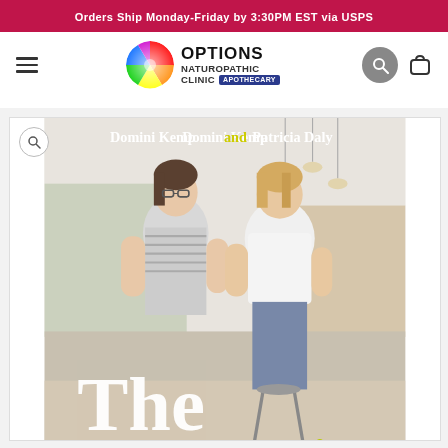Orders Ship Monday-Friday by 3:30PM EST via USPS
[Figure (logo): Options Naturopathic Clinic Apothecary logo with multicolored circular icon]
[Figure (photo): Book cover: Domini Kemp and Patricia Daly, The Ketogenic (Kitchen) — two women standing in a cafe/kitchen setting]